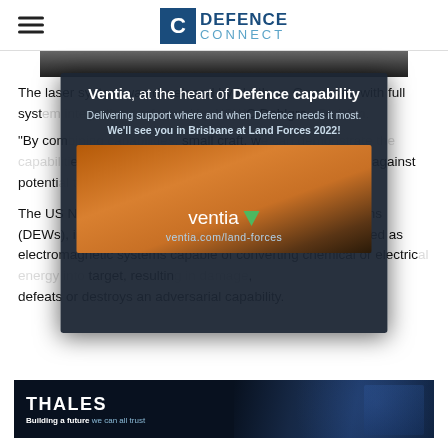DEFENCE CONNECT
[Figure (photo): Partial view of a photo at the top of the article, showing dark figures, partially cut off]
The laser system was developed by Northrup Grumman, with full system integration performed by NSWC Dahlgren...
[Figure (advertisement): Ventia advertisement overlay: 'Ventia, at the heart of Defence capability. Delivering support where and when Defence needs it most. We'll see you in Brisbane at Land Forces 2022! ventia.com/land-forces']
"By combining... small craft, w... es of the Soli... against potenti... nding officer o..."
The US Navy has been developing directed-energy weapons (DEWs), including lasers, since the 1960s. DEWs are defined as electromagnetic systems capable of converting chemical or electric... target, resultin... , defeats or destroys an adversarial capability.
[Figure (advertisement): Thales advertisement: 'THALES - Building a future we can all trust' with military imagery]